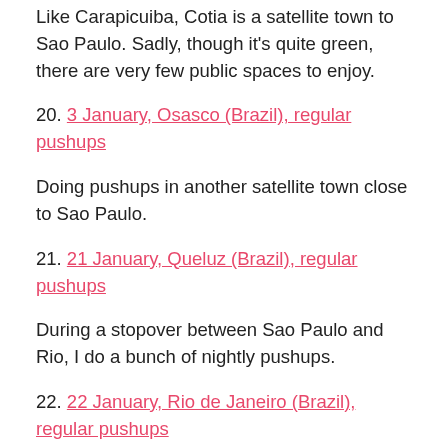Like Carapicuiba, Cotia is a satellite town to Sao Paulo. Sadly, though it's quite green, there are very few public spaces to enjoy.
20. 3 January, Osasco (Brazil), regular pushups
Doing pushups in another satellite town close to Sao Paulo.
21. 21 January, Queluz (Brazil), regular pushups
During a stopover between Sao Paulo and Rio, I do a bunch of nightly pushups.
22. 22 January, Rio de Janeiro (Brazil), regular pushups
A fitting end to this long saga, I finish with a set of pushups on one of Rio de Janeiro's beaches, Leme, right next to Copacobana.